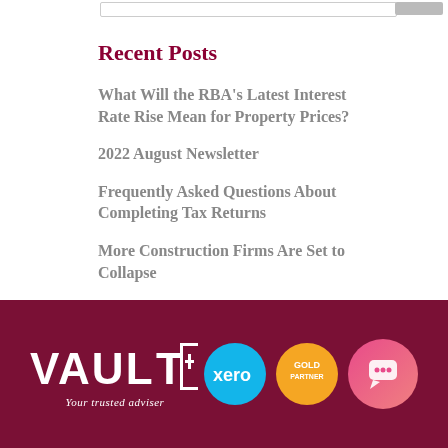Recent Posts
What Will the RBA's Latest Interest Rate Rise Mean for Property Prices?
2022 August Newsletter
Frequently Asked Questions About Completing Tax Returns
More Construction Firms Are Set to Collapse
Unique Ways To Reduce Your Spending
[Figure (logo): VAULT+ logo with tagline 'Your trusted adviser', Xero badge, Gold Partner badge, and chat bubble badge on dark red background]